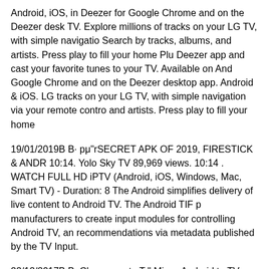Android, iOS, in Deezer for Google Chrome and on the Deezer desktop TV. Explore millions of tracks on your LG TV, with simple navigation Search by tracks, albums, and artists. Press play to fill your home Plu Deezer app and cast your favorite tunes to your TV. Available on And Google Chrome and on the Deezer desktop app. Android & iOS. LG tracks on your LG TV, with simple navigation via your remote control and artists. Press play to fill your home
19/01/2019B B· pμ"rSECRET APK OF 2019, FIRESTICK & ANDR 10:14. Yolo Sky TV 89,969 views. 10:14 . WATCH FULL HD iPTV (Android, iOS, Windows, Mac, Smart TV) - Duration: 8 The Android simplifies delivery of live content to Android TV. The Android TIF p manufacturers to create input modules for controlling Android TV, an recommendations via metadata published by the TV Input.
22/12/2017B B· Chromecast вЂ" Mirror Android to TV. Chromecast your device to your TV for Android 5.1 version and later. You can m like the other two applications mentioned above. This is the solution have Miracast-capable devices. This is a separate HDMI dongle that